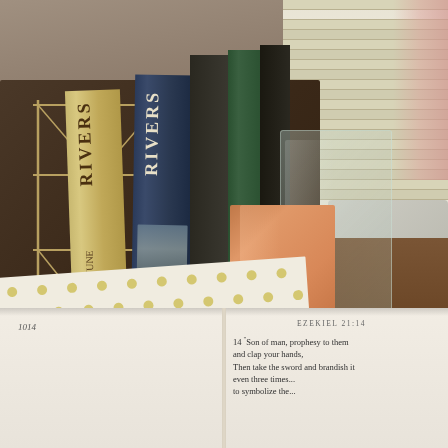[Figure (photo): A desk scene photographed at an angle showing: a wire/metal book organizer on the left holding two books with 'RIVERS' on their spines (one tan/gold cover, one dark blue cover), along with other books and files. A rose gold/copper colored magazine file holder in the center holding green and other colored files. A clear acrylic holder next to it. A decorative stone/tile in the bottom left of the organizer with cursive script reading 'I can do all things through Christ which strengtheneth me. Phil 4:13'. A gold stapler on the right side. An open Bible at the bottom of the frame showing text 'EZEKIEL 21:14' with verse text '14 Son of man, prophesy to them and clap your hands, Then take the sword and brandish it...' and a page number '1014'. A patterned paper with gold dots visible on the desk. A window with blinds and pink curtain visible in the upper right background.]